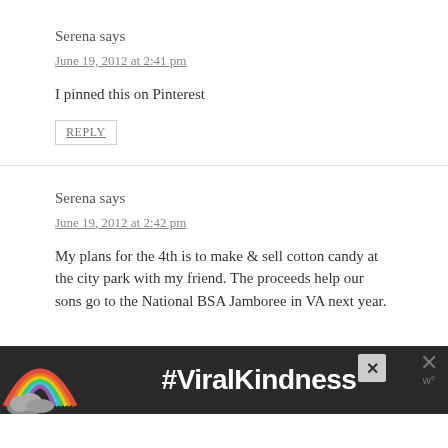Serena says
June 19, 2012 at 2:41 pm
I pinned this on Pinterest
REPLY
Serena says
June 19, 2012 at 2:42 pm
My plans for the 4th is to make & sell cotton candy at the city park with my friend. The proceeds help our sons go to the National BSA Jamboree in VA next year.
[Figure (other): Advertisement banner with rainbow illustration and #ViralKindness text on dark background]